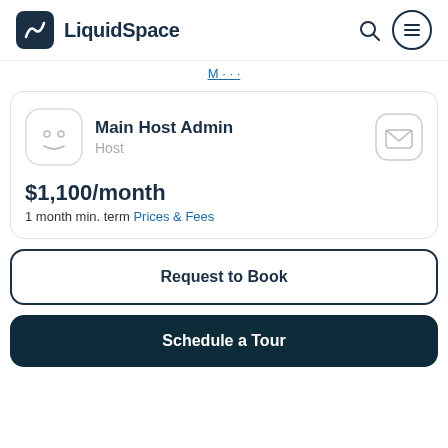LiquidSpace
M ...
Main Host Admin
Host
$1,100/month
1 month min. term Prices & Fees
Request to Book
Schedule a Tour